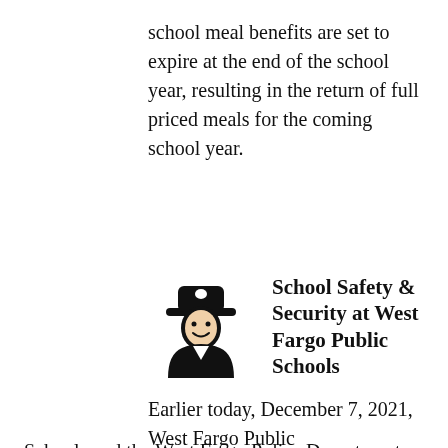school meal benefits are set to expire at the end of the school year, resulting in the return of full priced meals for the coming school year.
School Safety & Security at West Fargo Public Schools
[Figure (illustration): Icon of a police officer in black silhouette wearing a hat and uniform, smiling]
Earlier today, December 7, 2021, West Fargo Public Schools and the West Fargo Police Department held a joint press conference on the topic of school safety. This community conversation was precipitated by the threat of school violence directed at Cheney Middle School (CMS) last evening that resulted in all CMS students learning virtually from home